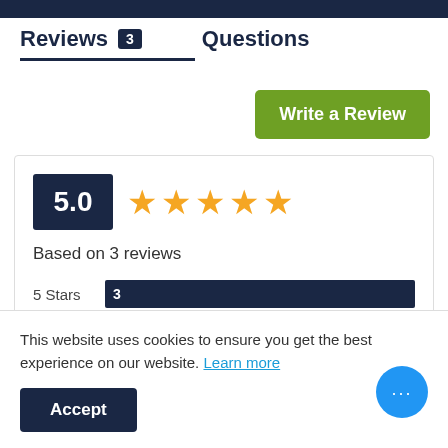Reviews 3   Questions
Write a Review
5.0 ★★★★★
Based on 3 reviews
[Figure (bar-chart): Star rating distribution]
This website uses cookies to ensure you get the best experience on our website. Learn more
Accept